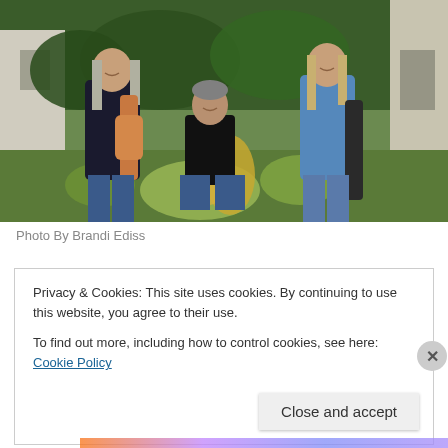[Figure (photo): Three men posing outdoors in a rustic, overgrown setting with an old building in the background. Left man has long gray hair and holds a bass guitar. Center man sits casually wearing a black t-shirt. Right man stands holding a guitar case, wearing a blue denim shirt. Lush green plants and weeds surround them.]
Photo By Brandi Ediss
Privacy & Cookies: This site uses cookies. By continuing to use this website, you agree to their use.
To find out more, including how to control cookies, see here: Cookie Policy